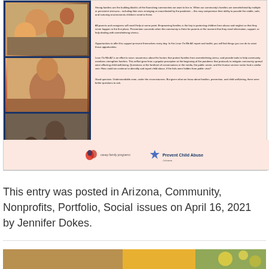[Figure (photo): A document/report card showing family photos on the left column (three photos of families with children) and text on the right on a pink/salmon background, with organization logos at the bottom (Casey Family Programs and Prevent Child Abuse Arizona)]
This entry was posted in Arizona, Community, Nonprofits, Portfolio, Social issues on April 16, 2021 by Jennifer Dokes.
[Figure (photo): Bottom strip showing a partial image, appears to be colorful items]